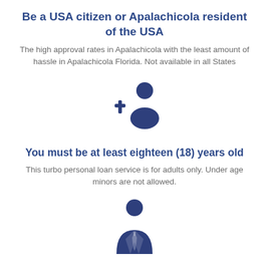Be a USA citizen or Apalachicola resident of the USA
The high approval rates in Apalachicola with the least amount of hassle in Apalachicola Florida. Not available in all States
[Figure (illustration): Icon of a person silhouette with a plus sign, representing adding a user or citizen eligibility]
You must be at least eighteen (18) years old
This turbo personal loan service is for adults only. Under age minors are not allowed.
[Figure (illustration): Icon of a person in a suit with a tie, representing a professional adult]
You must have steady income
You must have steady income